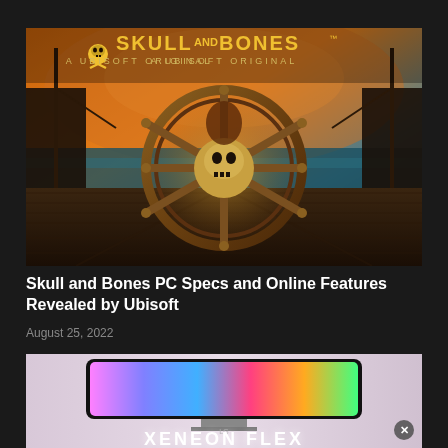[Figure (illustration): Skull and Bones game key art showing a skull-adorned ship's wheel on a wooden deck with stormy ocean and dramatic sky in the background. Golden logo reads 'SKULL AND BONES - A Ubisoft Original' at the top.]
Skull and Bones PC Specs and Online Features Revealed by Ubisoft
August 25, 2022
[Figure (photo): Advertisement for LG Xeneon Flex monitor showing a curved ultrawide monitor with colorful display, with large text 'XENEON FLEX' overlaid on a light purple/pink background.]